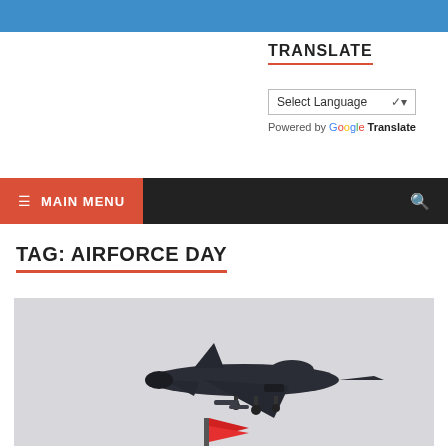Blue top navigation bar
TRANSLATE
Select Language — Powered by Google Translate
≡ MAIN MENU
TAG: AIRFORCE DAY
[Figure (photo): Fighter jet (dark, military) in flight against a light grey sky, with a red flag visible at the bottom of the image]